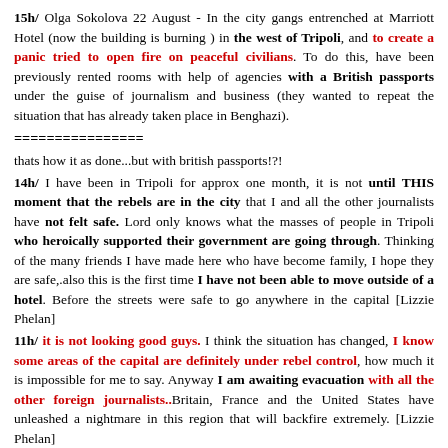15h/ Olga Sokolova 22 August - In the city gangs entrenched at Marriott Hotel (now the building is burning ) in the west of Tripoli, and to create a panic tried to open fire on peaceful civilians. To do this, have been previously rented rooms with help of agencies with a British passports under the guise of journalism and business (they wanted to repeat the situation that has already taken place in Benghazi).
================
thats how it as done...but with british passports!?!
14h/ I have been in Tripoli for approx one month, it is not until THIS moment that the rebels are in the city that I and all the other journalists have not felt safe. Lord only knows what the masses of people in Tripoli who heroically supported their government are going through. Thinking of the many friends I have made here who have become family, I hope they are safe,.also this is the first time I have not been able to move outside of a hotel. Before the streets were safe to go anywhere in the capital [Lizzie Phelan]
11h/ it is not looking good guys. I think the situation has changed, I know some areas of the capital are definitely under rebel control, how much it is impossible for me to say. Anyway I am awaiting evacuation with all the other foreign journalists..Britain, France and the United States have unleashed a nightmare in this region that will backfire extremely. [Lizzie Phelan]
09h/ I have now from RELIABLE sources that the Libyan army is still in control of Tripoli. Al J footage of Green Sq was FAKE. Gaddafi went to